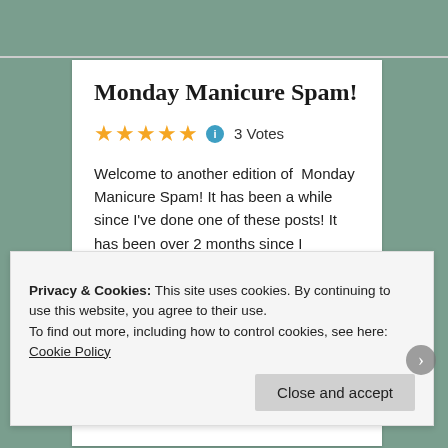Monday Manicure Spam!
★★★★★ ℹ 3 Votes
Welcome to another edition of  Monday Manicure Spam! It has been a while since I've done one of these posts! It has been over 2 months since I showcased all of my random manicures!  I've still been photographing my manicures, but during the month of August I was wear a lot of nail polish strips…
September 9, 2013 in anny, China Glaze, Essie,
Privacy & Cookies: This site uses cookies. By continuing to use this website, you agree to their use.
To find out more, including how to control cookies, see here: Cookie Policy
Close and accept